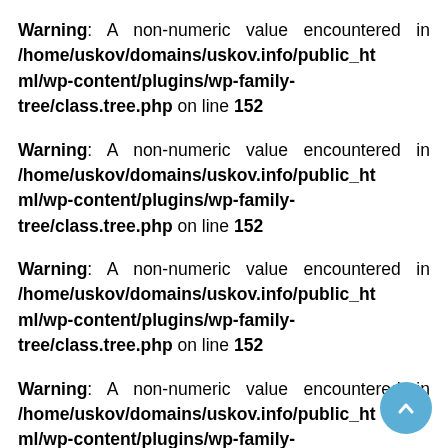Warning: A non-numeric value encountered in /home/uskov/domains/uskov.info/public_html/wp-content/plugins/wp-family-tree/class.tree.php on line 152
Warning: A non-numeric value encountered in /home/uskov/domains/uskov.info/public_html/wp-content/plugins/wp-family-tree/class.tree.php on line 152
Warning: A non-numeric value encountered in /home/uskov/domains/uskov.info/public_html/wp-content/plugins/wp-family-tree/class.tree.php on line 152
Warning: A non-numeric value encountered in /home/uskov/domains/uskov.info/public_html/wp-content/plugins/wp-family-tree/class.tree.php on line 152